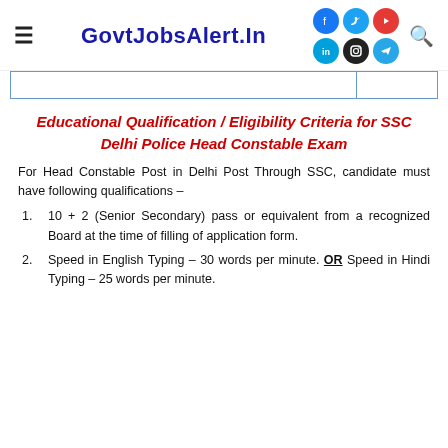GovtJobsAlert.In
Educational Qualification / Eligibility Criteria for SSC Delhi Police Head Constable Exam
For Head Constable Post in Delhi Post Through SSC, candidate must have following qualifications –
10 + 2 (Senior Secondary) pass or equivalent from a recognized Board at the time of filling of application form.
Speed in English Typing – 30 words per minute. OR Speed in Hindi Typing – 25 words per minute.